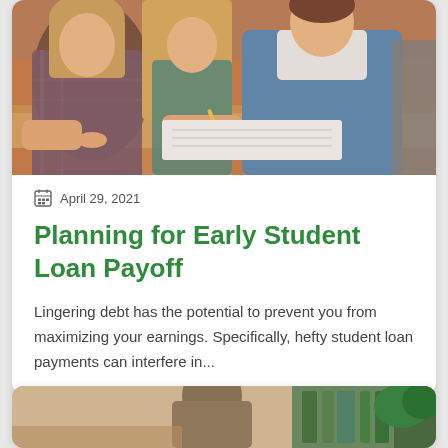[Figure (photo): Students sitting at desks in a classroom, writing notes. A young man in a blue denim shirt is prominent in the foreground.]
April 29, 2021
Planning for Early Student Loan Payoff
Lingering debt has the potential to prevent you from maximizing your earnings. Specifically, hefty student loan payments can interfere in...
[Figure (photo): Person sitting in a room with plants and bookshelves in the background.]